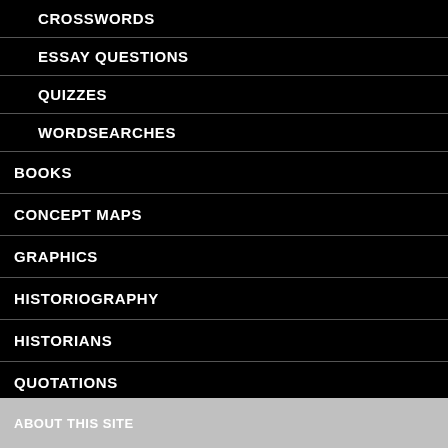CROSSWORDS
ESSAY QUESTIONS
QUIZZES
WORDSEARCHES
BOOKS
CONCEPT MAPS
GRAPHICS
HISTORIOGRAPHY
HISTORIANS
QUOTATIONS
TRIVIA
ABOUT THIS SITE